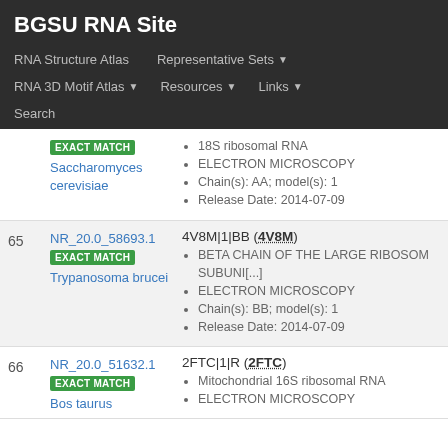BGSU RNA Site
RNA Structure Atlas | Representative Sets | RNA 3D Motif Atlas | Resources | Links | Search
| # | ID / Badge / Species | Entry / Details |
| --- | --- | --- |
|  | NR_20.0_58693.1 EXACT MATCH Trypanosoma brucei | 4V8M|1|BB (4V8M) • BETA CHAIN OF THE LARGE RIBOSOM SUBUNI[...] • ELECTRON MICROSCOPY • Chain(s): BB; model(s): 1 • Release Date: 2014-07-09 |
| 66 | NR_20.0_51632.1 EXACT MATCH Bos taurus | 2FTC|1|R (2FTC) • Mitochondrial 16S ribosomal RNA • ELECTRON MICROSCOPY |